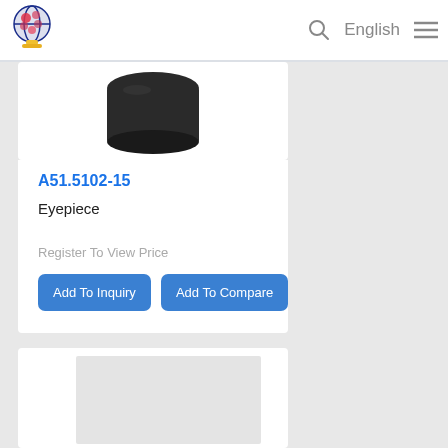English
A51.5102-15
Eyepiece
Register To View Price
Add To Inquiry
Add To Compare
[Figure (photo): Black cylindrical eyepiece product photo]
[Figure (photo): Second product card placeholder, partially visible at bottom]